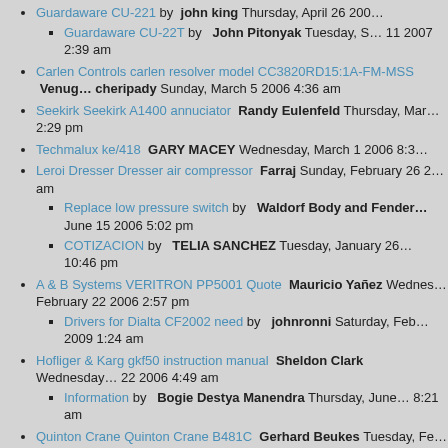Guardaware CU-221 by john king Thursday, April 26 200...
Guardaware CU-22T by John Pitonyak Tuesday, S... 11 2007 2:39 am
Carlen Controls carlen resolver model CC3820RD15:1A-FM-MSS Venug... cheripady Sunday, March 5 2006 4:36 am
Seekirk Seekirk A1400 annuciator Randy Eulenfeld Thursday, Mar... 2:29 pm
Techmalux ke/418 GARY MACEY Wednesday, March 1 2006 8:3...
Leroi Dresser Dresser air compressor Farraj Sunday, February 26 2... am
Replace low pressure switch by Waldorf Body and Fender... June 15 2006 5:02 pm
COTIZACION by TELIA SANCHEZ Tuesday, January 26... 10:46 pm
A & B Systems VERITRON PP5001 Quote Mauricio Yañez Wednes... February 22 2006 2:57 pm
Drivers for Dialta CF2002 need by johnronni Saturday, Feb... 2009 1:24 am
Hofliger & Karg gkf50 instruction manual Sheldon Clark Wednesday... 22 2006 4:49 am
Information by Bogie Destya Manendra Thursday, June... 8:21 am
Quinton Crane Quinton Crane B481C Gerhard Beukes Tuesday, Fe... 2006 2:43 am
Rustronic Repair of MMI and loading of Rustronic MKII soft... rey Saldanha Monday, February 20 2006 4:51 am
response by Nick Good Wednesday, Febru... 007
Atlas Copco Compressor controller repair adam bruce Thursday, Feb... 2006 2:43 pm